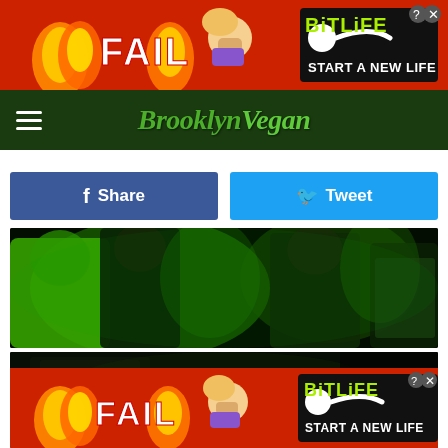[Figure (screenshot): BitLife advertisement banner with red background, cartoon blonde character, flames, and 'FAIL' / 'START A NEW LIFE' text with BitLife logo]
Brooklyn Vegan
Share | Tweet
[Figure (photo): Concert/event photo showing crowd of people bathed in green lighting]
[Figure (photo): Dark venue photo showing a performer with curly hair at the bottom]
[Figure (screenshot): BitLife advertisement banner (second instance) with red background, cartoon blonde character, flames, and 'FAIL' / 'START A NEW LIFE' text with BitLife logo]